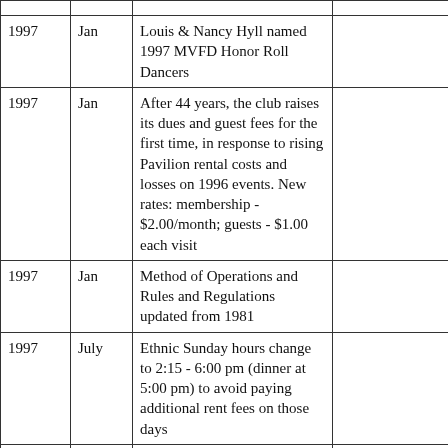| Year | Month | Event | Notes |
| --- | --- | --- | --- |
| 1997 | Jan | Louis & Nancy Hyll named 1997 MVFD Honor Roll Dancers |  |
| 1997 | Jan | After 44 years, the club raises its dues and guest fees for the first time, in response to rising Pavilion rental costs and losses on 1996 events. New rates: membership - $2.00/month; guests - $1.00 each visit |  |
| 1997 | Jan | Method of Operations and Rules and Regulations updated from 1981 |  |
| 1997 | July | Ethnic Sunday hours change to 2:15 - 6:00 pm (dinner at 5:00 pm) to avoid paying additional rent fees on those days |  |
| 1997 | Nov | 45th Anniversary International Workshop | Wim Bekooy |
| 1998 | Jan | Club raises dues and guest fees again. New rates: membership - $2.50/month; guests - $1.50 |  |